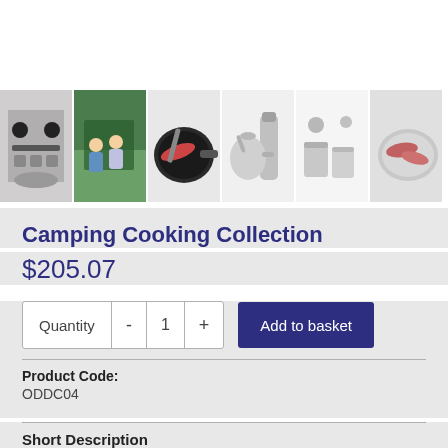[Figure (photo): Row of 6 product thumbnail images showing camping cooking collection items: kit parts laid out, children at campsite, frying pan with sausage, kettle and thermos, stainless steel cups, sausage on plate]
Camping Cooking Collection
$205.07
Quantity - 1 +
Add to basket
Product Code:
ODDC04
Short Description
This Camping Cooking Collection is essential for any camping trip. It includes long lasting, stainless steel